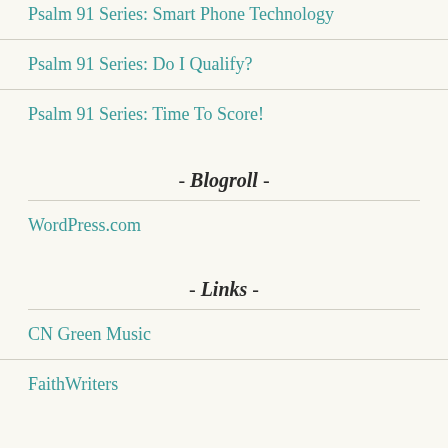Psalm 91 Series: Smart Phone Technology
Psalm 91 Series: Do I Qualify?
Psalm 91 Series: Time To Score!
- Blogroll -
WordPress.com
- Links -
CN Green Music
FaithWriters